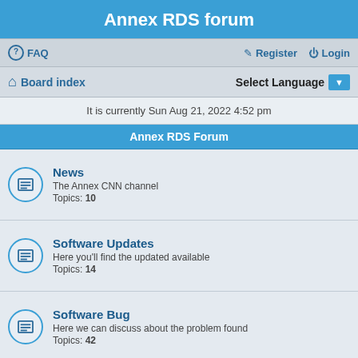Annex RDS forum
FAQ   Register   Login
Board index   Select Language
It is currently Sun Aug 21, 2022 4:52 pm
Annex RDS Forum
News
The Annex CNN channel
Topics: 10
Software Updates
Here you'll find the updated available
Topics: 14
Software Bug
Here we can discuss about the problem found
Topics: 42
Troubleshooting
Recurrent H/W and software problems
Topics: 30
Programming Examples
Place code snippets and demo code here
Topics: 30
Solutions (partial, cut off)